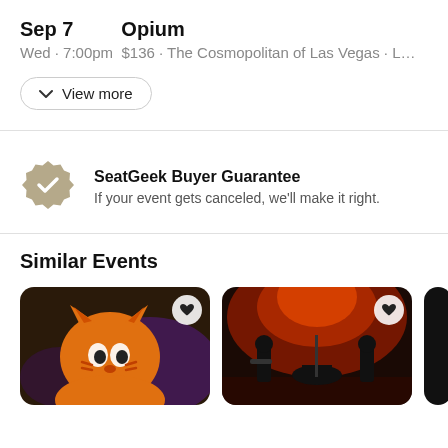Sep 7   Opium
Wed · 7:00pm  $136 · The Cosmopolitan of Las Vegas · L…
View more
SeatGeek Buyer Guarantee
If your event gets canceled, we'll make it right.
Similar Events
[Figure (photo): Photo of performer wearing orange cartoon tiger/charizard costume on stage]
[Figure (photo): Photo of band performing on stage with dramatic red/orange lighting]
[Figure (photo): Partially visible third event card, mostly cropped]